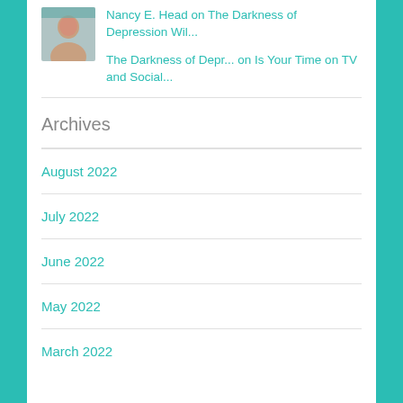[Figure (photo): Small avatar photo of a person]
Nancy E. Head on The Darkness of Depression Wil...
The Darkness of Depr... on Is Your Time on TV and Social...
Archives
August 2022
July 2022
June 2022
May 2022
March 2022